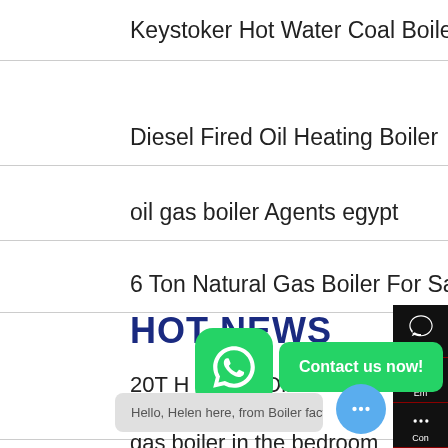Keystoker Hot Water Coal Boilers - Discount Hearth Products
Diesel Fired Oil Heating Boiler
oil gas boiler Agents egypt
6 Ton Natural Gas Boiler For Sale Kyrgyzstan
HOT NEWS
20T H Heavy Oil Shell Type Boiler - 1 ton gas boiler price 1 ton
gas boiler in the bedroom
4 2MW Condensate Hot Water Boiler In Wuzhou